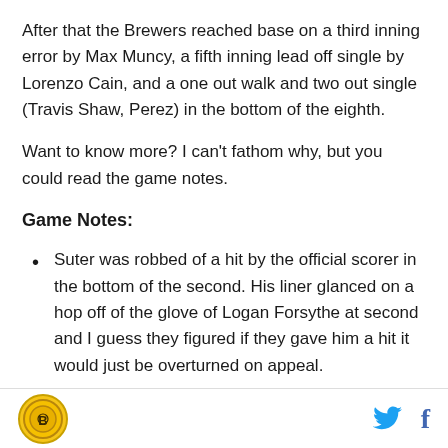After that the Brewers reached base on a third inning error by Max Muncy, a fifth inning lead off single by Lorenzo Cain, and a one out walk and two out single (Travis Shaw, Perez) in the bottom of the eighth.
Want to know more? I can't fathom why, but you could read the game notes.
Game Notes:
Suter was robbed of a hit by the official scorer in the bottom of the second. His liner glanced on a hop off of the glove of Logan Forsythe at second and I guess they figured if they gave him a hit it would just be overturned on appeal.